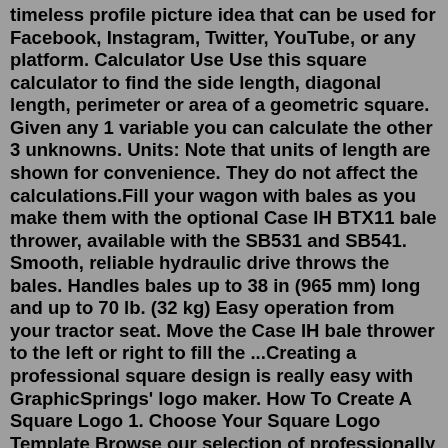timeless profile picture idea that can be used for Facebook, Instagram, Twitter, YouTube, or any platform. Calculator Use Use this square calculator to find the side length, diagonal length, perimeter or area of a geometric square. Given any 1 variable you can calculate the other 3 unknowns. Units: Note that units of length are shown for convenience. They do not affect the calculations.Fill your wagon with bales as you make them with the optional Case IH BTX11 bale thrower, available with the SB531 and SB541. Smooth, reliable hydraulic drive throws the bales. Handles bales up to 38 in (965 mm) long and up to 70 lb. (32 kg) Easy operation from your tractor seat. Move the Case IH bale thrower to the left or right to fill the ...Creating a professional square design is really easy with GraphicSprings' logo maker. How To Create A Square Logo 1. Choose Your Square Logo Template Browse our selection of professionally designed logo templates to get started. 2. Edit Your Square Logo Design Customize your design with our sophisticated square logo design software. 3. Enter...